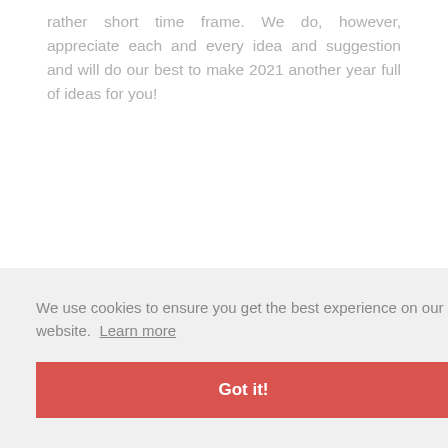rather short time frame. We do, however, appreciate each and every idea and suggestion and will do our best to make 2021 another year full of ideas for you!
We use cookies to ensure you get the best experience on our website.  Learn more
Got it!